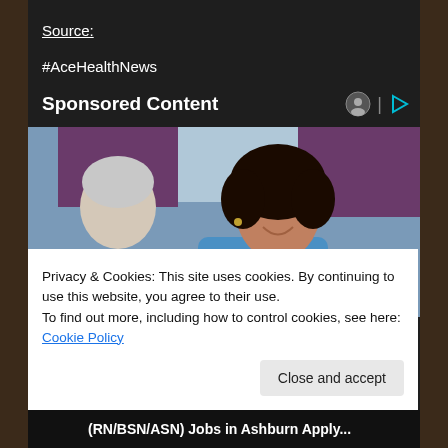Source:
#AceHealthNews
Sponsored Content
[Figure (photo): A smiling nurse or healthcare worker in blue scrubs with a stethoscope, sitting with an elderly patient with white hair, in a room with a purple curtain and window in the background.]
Privacy & Cookies: This site uses cookies. By continuing to use this website, you agree to their use.
To find out more, including how to control cookies, see here: Cookie Policy
Close and accept
(RN/BSN/ASN) Jobs in Ashburn Apply...